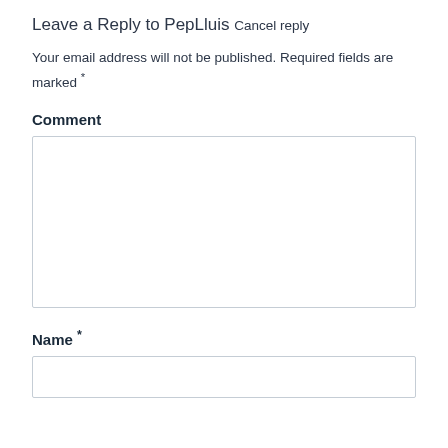Leave a Reply to PepLluis Cancel reply
Your email address will not be published. Required fields are marked *
Comment
Name *